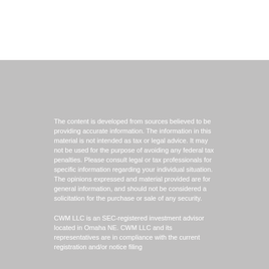The content is developed from sources believed to be providing accurate information. The information in this material is not intended as tax or legal advice. It may not be used for the purpose of avoiding any federal tax penalties. Please consult legal or tax professionals for specific information regarding your individual situation. The opinions expressed and material provided are for general information, and should not be considered a solicitation for the purchase or sale of any security.
CWM LLC is an SEC-registered investment advisor located in Omaha NE. CWM LLC and its representatives are in compliance with the current registration and/or notice filing